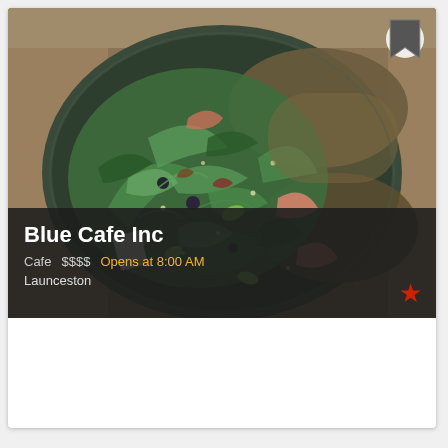[Figure (photo): Overhead photo of a salad bowl with mixed greens, quinoa, edamame, salmon and other toppings in a dark ceramic bowl on a wooden table]
Blue Cafe Inc
Cafe  $$$$  Opens at 8:00 AM
Launceston